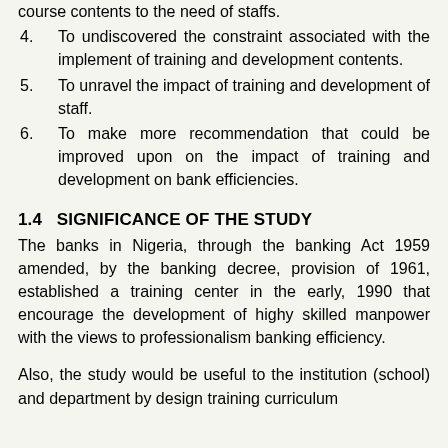course contents to the need of staffs.
4.      To undiscovered the constraint associated with the implement of training and development contents.
5.      To unravel the impact of training and development of staff.
6.      To make more recommendation that could be improved upon on the impact of training and development on bank efficiencies.
1.4   SIGNIFICANCE OF THE STUDY
The banks in Nigeria, through the banking Act 1959 amended, by the banking decree, provision of 1961, established a training center in the early, 1990 that encourage the development of highy skilled manpower with the views to professionalism banking efficiency.
Also, the study would be useful to the institution (school) and department by design training curriculum